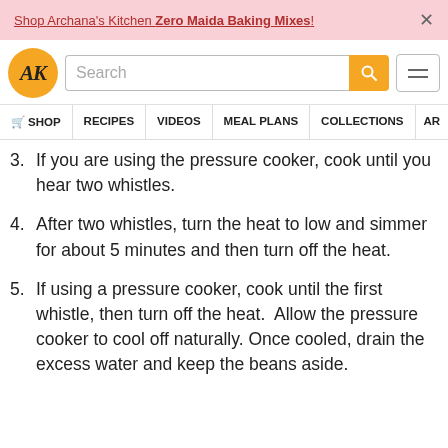Shop Archana's Kitchen Zero Maida Baking Mixes!
[Figure (logo): Archana's Kitchen AK logo, orange circle with serif AK text, search bar, hamburger menu]
SHOP  RECIPES  VIDEOS  MEAL PLANS  COLLECTIONS  AR
3. If you are using the pressure cooker, cook until you hear two whistles.
4. After two whistles, turn the heat to low and simmer for about 5 minutes and then turn off the heat.
5. If using a pressure cooker, cook until the first whistle, then turn off the heat.  Allow the pressure cooker to cool off naturally. Once cooled, drain the excess water and keep the beans aside.